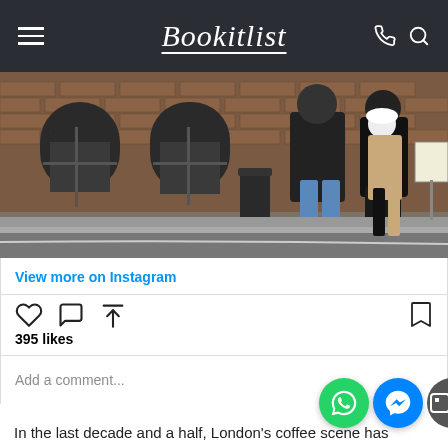Bookitlist
[Figure (photo): Street scene with people standing on a pavement outside a red brick building with arched windows. A woman in a tan coat and white cap holds something, a person in jeans and black puffer jacket stands nearby.]
View more on Instagram
[Figure (infographic): Instagram post interaction row: heart icon, comment bubble icon, share icon on left; bookmark icon on right. Below: 395 likes. Comment input: Add a comment...]
395 likes
Add a comment...
[Figure (other): WhatsApp and Facebook Messenger chat bubble icons overlaid on the bottom right of the Instagram embed area.]
In the last decade and a half, London's coffee scene has